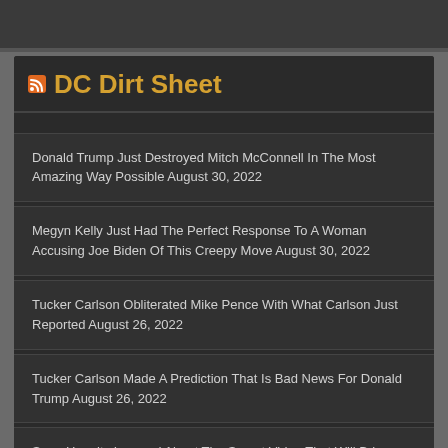DC Dirt Sheet
Donald Trump Just Destroyed Mitch McConnell In The Most Amazing Way Possible August 30, 2022
Megyn Kelly Just Had The Perfect Response To A Woman Accusing Joe Biden Of This Creepy Move August 30, 2022
Tucker Carlson Obliterated Mike Pence With What Carlson Just Reported August 26, 2022
Tucker Carlson Made A Prediction That Is Bad News For Donald Trump August 26, 2022
Sean Hannity Learned About The Secret Video That Will Bring Down The FBI August 26, 2022